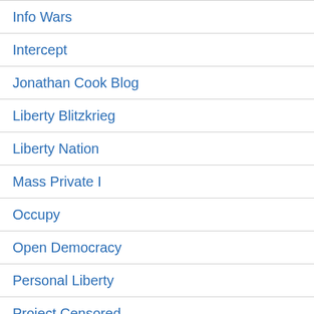Info Wars
Intercept
Jonathan Cook Blog
Liberty Blitzkrieg
Liberty Nation
Mass Private I
Occupy
Open Democracy
Personal Liberty
Project Censored